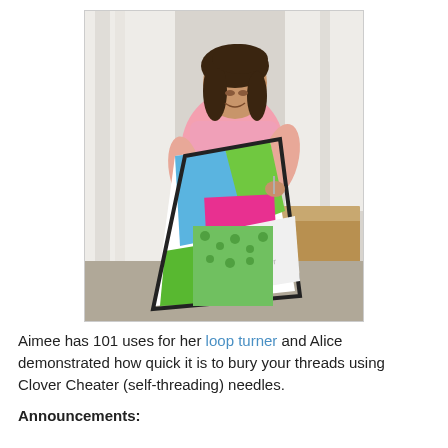[Figure (photo): A woman with dark hair wearing a pink shirt holds a large colorful quilt with blue, green, pink, and black patterns. She is standing in front of a wooden bench with white curtains in the background.]
Aimee has 101 uses for her loop turner and Alice demonstrated how quick it is to bury your threads using Clover Cheater (self-threading) needles.
Announcements: